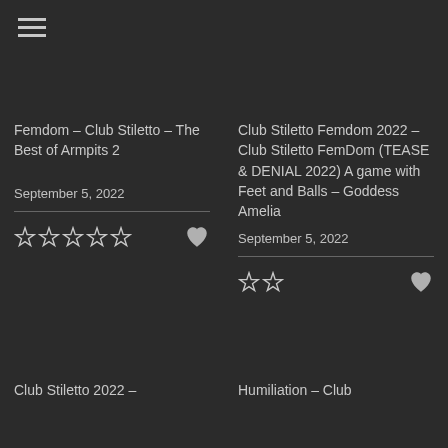[Figure (other): Hamburger menu icon (three horizontal lines)]
Femdom – Club Stiletto – The Best of Armpits 2
September 5, 2022
[Figure (other): 5 empty star rating icons and a heart icon]
Club Stiletto Femdom 2022 – Club Stiletto FemDom (TEASE & DENIAL 2022) A game with Feet and Balls – Goddess Amelia
September 5, 2022
[Figure (other): 2 empty star rating icons and a heart icon]
Club Stiletto 2022 –
Humiliation – Club